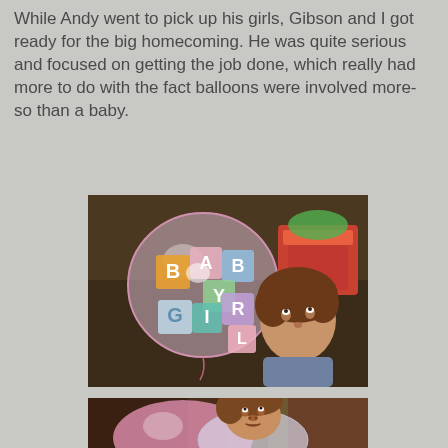While Andy went to pick up his girls, Gibson and I got ready for the big homecoming. He was quite serious and focused on getting the job done, which really had more to do with the fact balloons were involved more-so than a baby.
[Figure (photo): A young child with curly brown hair looks up at a large clear balloon printed with alphabet blocks spelling BABY GIRL. Colorful toys visible in background.]
[Figure (photo): Close-up of a young child with curly brown hair looking upward, with pink and white balloons visible in the foreground.]